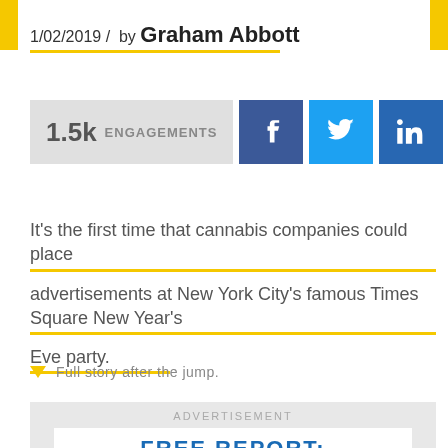1/02/2019 / by Graham Abbott
[Figure (infographic): Social engagement bar showing 1.5k engagements with Facebook, Twitter, and LinkedIn share buttons]
It's the first time that cannabis companies could place advertisements at New York City's famous Times Square New Year's Eve party.
Full story after the jump.
[Figure (infographic): Advertisement box with FREE REPORT label and blue bar below]